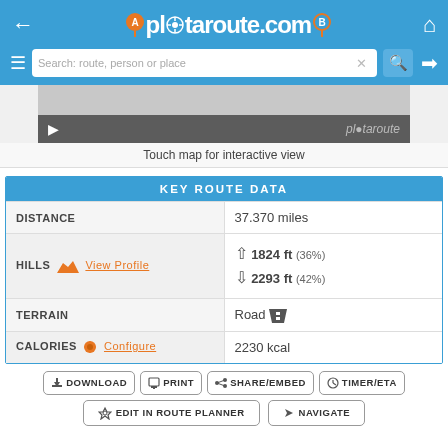plotaroute.com — navigation header with search bar
[Figure (screenshot): Map preview area showing a gray/dark bar with a play button and plotaroute watermark]
Touch map for interactive view
| KEY ROUTE DATA |  |
| --- | --- |
| DISTANCE | 37.370 miles |
| HILLS   View Profile | ↑ 1824 ft (36%)
↓ 2293 ft (42%) |
| TERRAIN | Road |
| CALORIES   Configure | 2230 kcal |
DOWNLOAD
PRINT
SHARE/EMBED
TIMER/ETA
EDIT IN ROUTE PLANNER
NAVIGATE